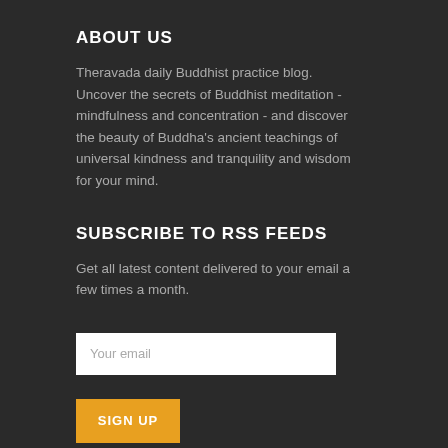ABOUT US
Theravada daily Buddhist practice blog. Uncover the secrets of Buddhist meditation - mindfulness and concentration - and discover the beauty of Buddha's ancient teachings of universal kindness and tranquility and wisdom for your mind.
SUBSCRIBE TO RSS FEEDS
Get all latest content delivered to your email a few times a month.
[Figure (other): Email input field with placeholder text 'Your email']
[Figure (other): Orange SIGN UP button]
GOOD BOOKS
Theravada Tipitaka Press
Path Press